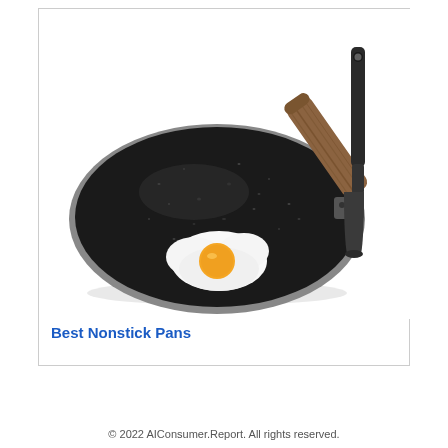[Figure (photo): A black nonstick frying pan with a wooden-style handle and a fried egg in it, alongside a black silicone spatula, on a white background.]
Best Nonstick Pans
© 2022 AIConsumer.Report. All rights reserved.